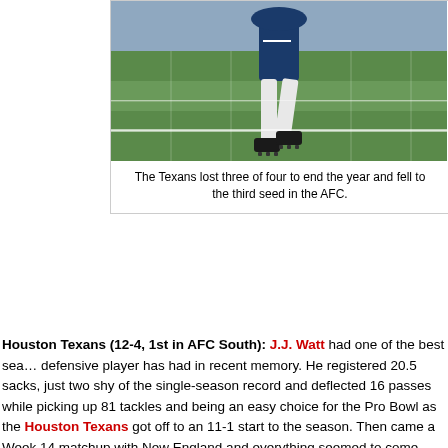[Figure (photo): A football player's legs and cleats on a green football field, viewed from below the waist]
The Texans lost three of four to end the year and fell to the third seed in the AFC.
Houston Texans (12-4, 1st in AFC South): J.J. Watt had one of the best seasons a defensive player has had in recent memory. He registered 20.5 sacks, just two shy of the single-season record and deflected 16 passes while picking up 81 tackles and being an easy choice for the Pro Bowl as the Houston Texans got off to an 11-1 start to the season. Then came a Week 14 matchup with New England and everything seemed to come unraveled. A 42-14 loss dropped Houston off the top of nearly everybody's power rankings, but that was just the beginning of it. They would lose two more times, to the Vikings and Colts, in the final three games and see their bye turn into a first round rematch of a year ago against the Bengals. They also had a tough time with Chicago, Jacksonville and Detroit in the second half of the year. While there has been no Bears collapse, I would not be surprised to see Cincinnati upset the Texans on Saturday.
Indianapolis Colts (11-5, 2nd in AFC South): The Colts, on the other hand, have a lot to live up to following their 2-14 2011 season. Their 11-5 record and